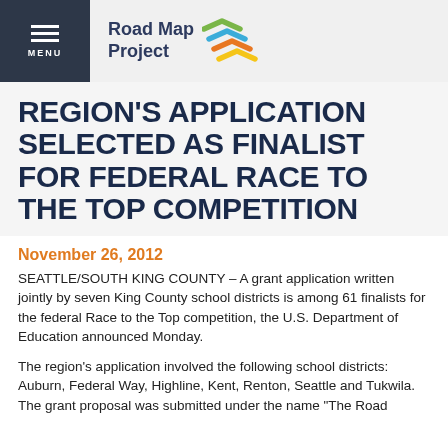Road Map Project
REGION'S APPLICATION SELECTED AS FINALIST FOR FEDERAL RACE TO THE TOP COMPETITION
November 26, 2012
SEATTLE/SOUTH KING COUNTY – A grant application written jointly by seven King County school districts is among 61 finalists for the federal Race to the Top competition, the U.S. Department of Education announced Monday.
The region's application involved the following school districts: Auburn, Federal Way, Highline, Kent, Renton, Seattle and Tukwila. The grant proposal was submitted under the name "The Road